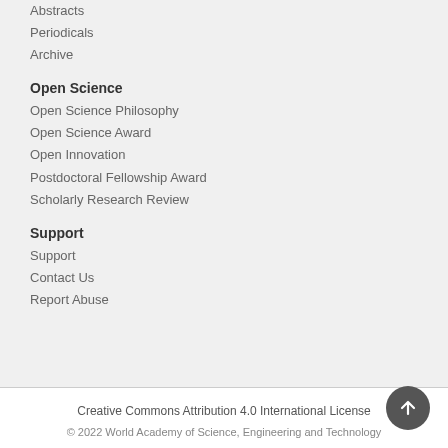Abstracts
Periodicals
Archive
Open Science
Open Science Philosophy
Open Science Award
Open Innovation
Postdoctoral Fellowship Award
Scholarly Research Review
Support
Support
Contact Us
Report Abuse
Creative Commons Attribution 4.0 International License
© 2022 World Academy of Science, Engineering and Technology